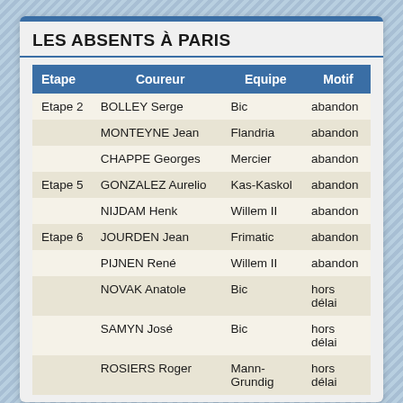LES ABSENTS À PARIS
| Etape | Coureur | Equipe | Motif |
| --- | --- | --- | --- |
| Etape 2 | BOLLEY Serge | Bic | abandon |
|  | MONTEYNE Jean | Flandria | abandon |
|  | CHAPPE Georges | Mercier | abandon |
| Etape 5 | GONZALEZ Aurelio | Kas-Kaskol | abandon |
|  | NIJDAM Henk | Willem II | abandon |
| Etape 6 | JOURDEN Jean | Frimatic | abandon |
|  | PIJNEN René | Willem II | abandon |
|  | NOVAK Anatole | Bic | hors délai |
|  | SAMYN José | Bic | hors délai |
|  | ROSIERS Roger | Mann-Grundig | hors délai |